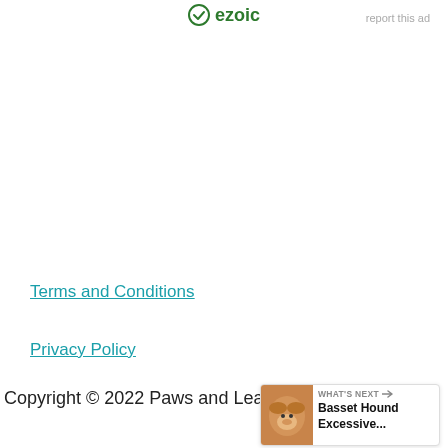ezoic | report this ad
Terms and Conditions
Privacy Policy
Copyright © 2022 Paws and Learn
[Figure (infographic): Floating action buttons: heart/like button (teal circle), count badge showing 1, and share button (teal circle with share icon)]
[Figure (infographic): WHAT'S NEXT panel with dog photo and text 'Basset Hound Excessive...']